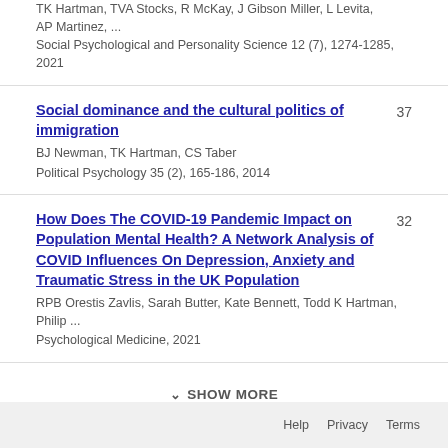TK Hartman, TVA Stocks, R McKay, J Gibson Miller, L Levita, AP Martinez, ...
Social Psychological and Personality Science 12 (7), 1274-1285, 2021
Social dominance and the cultural politics of immigration
BJ Newman, TK Hartman, CS Taber
Political Psychology 35 (2), 165-186, 2014
37
How Does The COVID-19 Pandemic Impact on Population Mental Health? A Network Analysis of COVID Influences On Depression, Anxiety and Traumatic Stress in the UK Population
RPB Orestis Zavlis, Sarah Butter, Kate Bennett, Todd K Hartman, Philip ...
Psychological Medicine, 2021
32
SHOW MORE
Help   Privacy   Terms